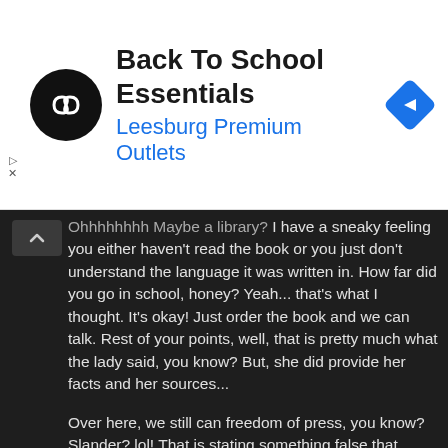[Figure (screenshot): Ad banner: Back To School Essentials at Leesburg Premium Outlets, with circular logo and navigation icon]
Ohhhhhhhh Maybe a library? I have a sneaky feeling you either haven't read the book or you just don't understand the language it was written in. How far did you go in school, honey? Yeah... that's what I thought. It's okay! Just order the book and we can talk. Rest of your points, well, that is pretty much what the lady said, you know? But, she did provide her facts and her sources...
Over here, we still can freedom of press, you know? Slander? lol! That is stating something false that damages someones reputation! Shoe don't fit!
6:28 AM
Anonymous said...
and, Jill, I hear today is the first day of the